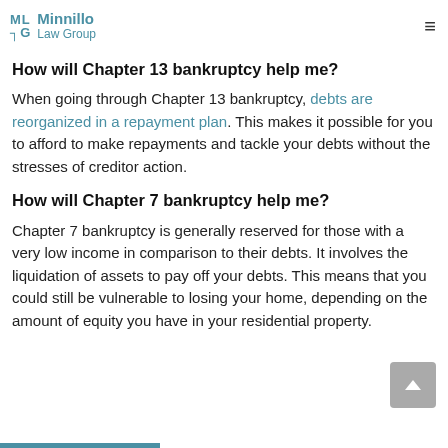Minnillo Law Group
How will Chapter 13 bankruptcy help me?
When going through Chapter 13 bankruptcy, debts are reorganized in a repayment plan. This makes it possible for you to afford to make repayments and tackle your debts without the stresses of creditor action.
How will Chapter 7 bankruptcy help me?
Chapter 7 bankruptcy is generally reserved for those with a very low income in comparison to their debts. It involves the liquidation of assets to pay off your debts. This means that you could still be vulnerable to losing your home, depending on the amount of equity you have in your residential property.